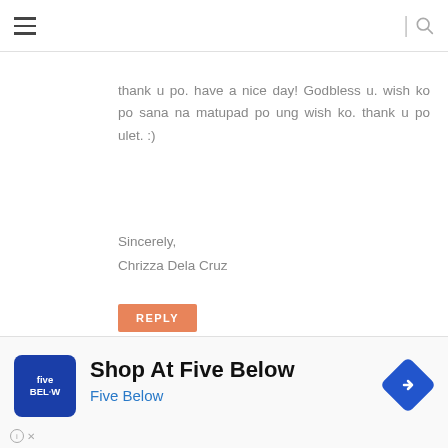≡  | 🔍
thank u po. have a nice day! Godbless u. wish ko po sana na matupad po ung wish ko. thank u po ulet. :)
Sincerely,
Chrizza Dela Cruz
REPLY
joebellebelarmino@yahoo.com
Friday, July 29, 2011 at 4:14:00 PM GMT+8
[Figure (other): Five Below advertisement banner with logo and navigation arrow icon]